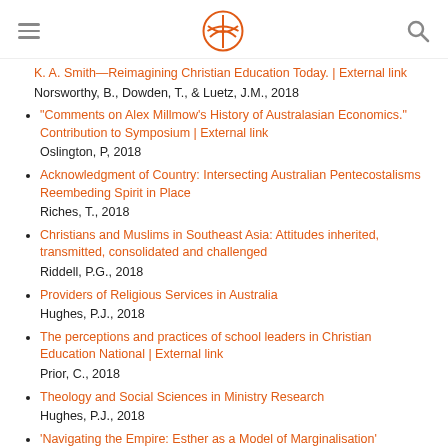[hamburger menu] [logo] [search]
K. A. Smith—Reimagining Christian Education Today. | External link
Norsworthy, B., Dowden, T., & Luetz, J.M., 2018
"Comments on Alex Millmow's History of Australasian Economics." Contribution to Symposium | External link
Oslington, P, 2018
Acknowledgment of Country: Intersecting Australian Pentecostalisms Reembeding Spirit in Place
Riches, T., 2018
Christians and Muslims in Southeast Asia: Attitudes inherited, transmitted, consolidated and challenged
Riddell, P.G., 2018
Providers of Religious Services in Australia
Hughes, P.J., 2018
The perceptions and practices of school leaders in Christian Education National | External link
Prior, C., 2018
Theology and Social Sciences in Ministry Research
Hughes, P.J., 2018
'Navigating the Empire: Esther as a Model of Marginalisation'